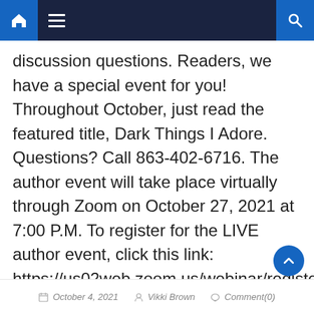[Navigation bar with home, menu, and search icons]
discussion questions. Readers, we have a special event for you! Throughout October, just read the featured title, Dark Things I Adore. Questions? Call 863-402-6716. The author event will take place virtually through Zoom on October 27, 2021 at 7:00 P.M. To register for the LIVE author event, click this link: https://us02web.zoom.us/webinar/register/
October 4, 2021   Vikki Brown   Comment(0)